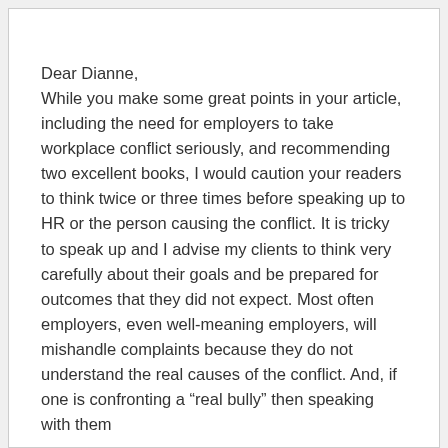Dear Dianne,
While you make some great points in your article, including the need for employers to take workplace conflict seriously, and recommending two excellent books, I would caution your readers to think twice or three times before speaking up to HR or the person causing the conflict. It is tricky to speak up and I advise my clients to think very carefully about their goals and be prepared for outcomes that they did not expect. Most often employers, even well-meaning employers, will mishandle complaints because they do not understand the real causes of the conflict. And, if one is confronting a “real bully” then speaking with them